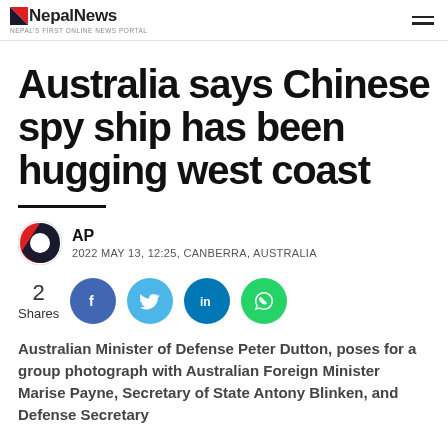NepalNews — Nepal's First Online News Portal
Australia says Chinese spy ship has been hugging west coast
AP
2022 MAY 13, 12:25, CANBERRA, AUSTRALIA
[Figure (infographic): Social share buttons: 2 Shares, Facebook, Twitter, LinkedIn, WhatsApp]
Australian Minister of Defense Peter Dutton, poses for a group photograph with Australian Foreign Minister Marise Payne, Secretary of State Antony Blinken, and Defense Secretary